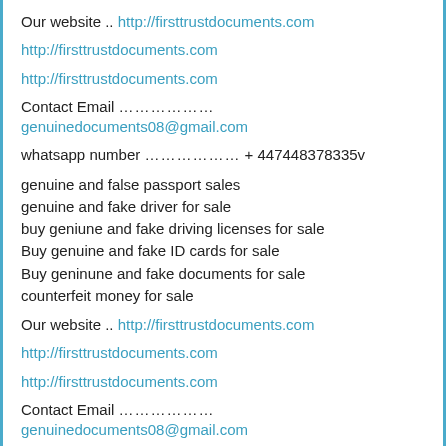Our website .. http://firsttrustdocuments.com
http://firsttrustdocuments.com
http://firsttrustdocuments.com
Contact Email ………………… genuinedocuments08@gmail.com
whatsapp number ………………… + 447448378335v
genuine and false passport sales
genuine and fake driver for sale
buy geniune and fake driving licenses for sale
Buy genuine and fake ID cards for sale
Buy geninune and fake documents for sale
counterfeit money for sale
Our website .. http://firsttrustdocuments.com
http://firsttrustdocuments.com
http://firsttrustdocuments.com
Contact Email ………………… genuinedocuments08@gmail.com
whatsapp number ………………… + 447448378335